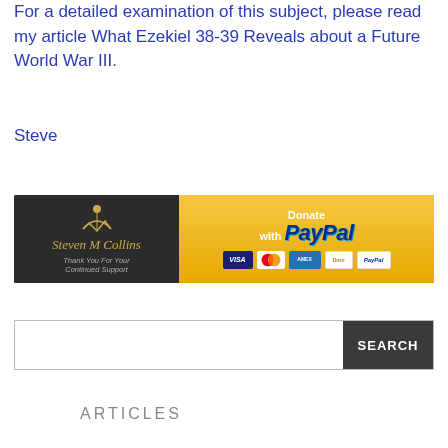For a detailed examination of this subject, please read my article What Ezekiel 38-39 Reveals about a Future World War III.
Steve
[Figure (infographic): Steven M Collins donation banner with PayPal button and credit card icons on dark background]
[Figure (screenshot): Search bar with SEARCH button]
ARTICLES